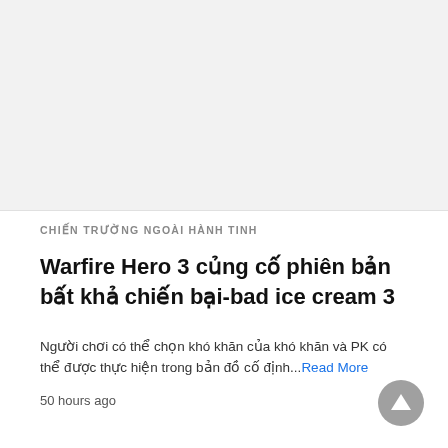[Figure (photo): Light gray image placeholder area at the top of the page]
CHIẾN TRƯỜNG NGOÀI HÀNH TINH
Warfire Hero 3 củng cố phiên bản bất khả chiến bại-bad ice cream 3
Người chơi có thể chọn khó khăn của khó khăn và PK có thể được thực hiện trong bản đồ cố định...Read More
50 hours ago